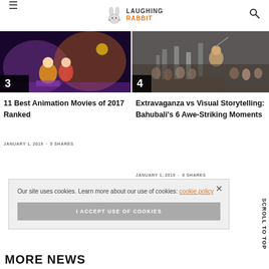Laughing Rabbit
[Figure (photo): Animation movie scene with colorful characters, numbered 3]
11 Best Animation Movies of 2017 Ranked
JANUARY 1, 2019 · 0 SHARES
[Figure (photo): Epic battle scene from Bahubali, numbered 4]
Extravaganza vs Visual Storytelling: Bahubali's 6 Awe-Striking Moments
JANUARY 1, 2019 · 0 SHARES
Our site uses cookies. Learn more about our use of cookies: cookie policy
I ACCEPT USE OF COOKIES
Scroll To Top
MORE NEWS